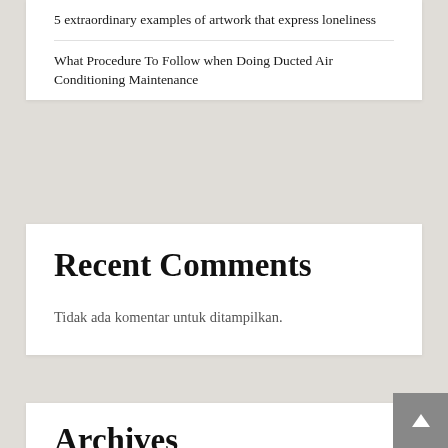5 extraordinary examples of artwork that express loneliness
What Procedure To Follow when Doing Ducted Air Conditioning Maintenance
Recent Comments
Tidak ada komentar untuk ditampilkan.
Archives
Juli 2022
Juni 2022
Mei 2022